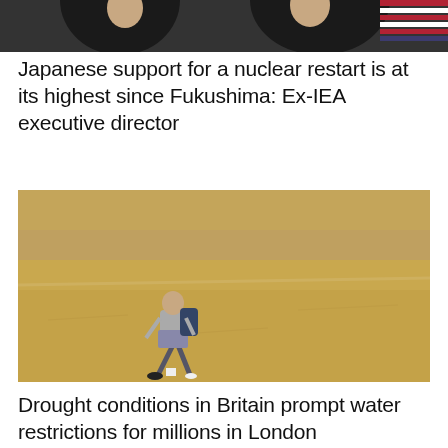[Figure (photo): Top portion of an image showing people at what appears to be a political or official event with American flag visible]
Japanese support for a nuclear restart is at its highest since Fukushima: Ex-IEA executive director
[Figure (photo): A person wearing a backpack and shorts walking across a large dry, parched, sandy-brown field under drought conditions in Britain]
Drought conditions in Britain prompt water restrictions for millions in London